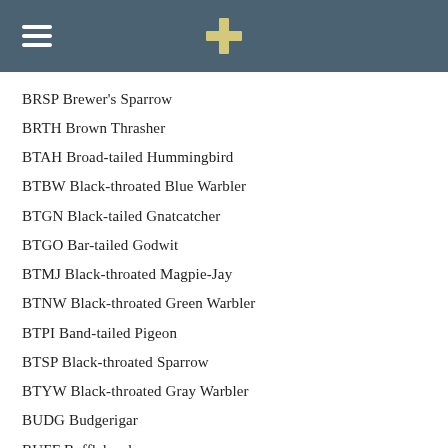BRSP Brewer's Sparrow
BRTH Brown Thrasher
BTAH Broad-tailed Hummingbird
BTBW Black-throated Blue Warbler
BTGN Black-tailed Gnatcatcher
BTGO Bar-tailed Godwit
BTMJ Black-throated Magpie-Jay
BTNW Black-throated Green Warbler
BTPI Band-tailed Pigeon
BTSP Black-throated Sparrow
BTYW Black-throated Gray Warbler
BUDG Budgerigar
BUFF Bufflehead
BULS Buller's Shearwater
BUOR Bullock's Oriole